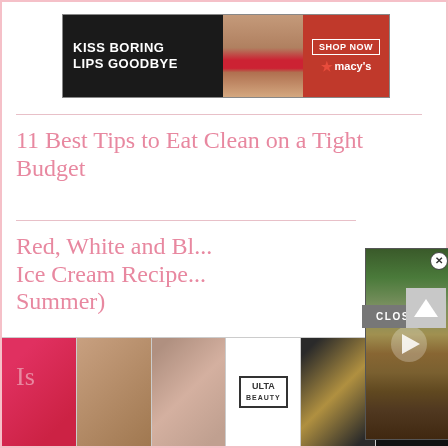[Figure (screenshot): Macy's advertisement banner: dark background left with 'KISS BORING LIPS GOODBYE' white bold text, woman's face with red lips in center, red right panel with 'SHOP NOW' button and Macy's star logo]
11 Best Tips to Eat Clean on a Tight Budget
Red, White and Bl... Ice Cream Recipe... Summer)
[Figure (screenshot): Video overlay showing a tortoise/turtle in a natural outdoor setting with dirt ground and vegetation. White play button triangle in center. Close (X) button top right.]
5 Safe Ways to Get Started Investing for Beginners
CLOSE
Is
[Figure (screenshot): Bottom advertisement strip for ULTA beauty: colorful makeup images, ULTA logo, makeup eye close-up, SHOP NOW text on dark background]
SHOP NOW